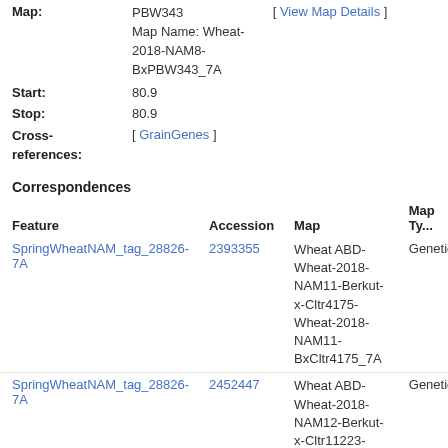NAM8-Berkut-x-PBW343
Map Name: Wheat-2018-NAM8-BxPBW343_7A
Map: PBW343
Map Name: Wheat-2018-NAM8-BxPBW343_7A
[ View Map Details ]
Start: 80.9
Stop: 80.9
Cross-references: [ GrainGenes ]
Correspondences
| Feature | Accession | Map | Map Ty... |
| --- | --- | --- | --- |
| SpringWheatNAM_tag_28826-7A | 2393355 | Wheat ABD-Wheat-2018-NAM11-Berkut-x-Cltr4175-Wheat-2018-NAM11-BxCltr4175_7A | Genetic |
| SpringWheatNAM_tag_28826-7A | 2452447 | Wheat ABD-Wheat-2018-NAM12-Berkut-x-Cltr11223-Wheat-2018-NAM12-BxCltr11223_7A | Genetic |